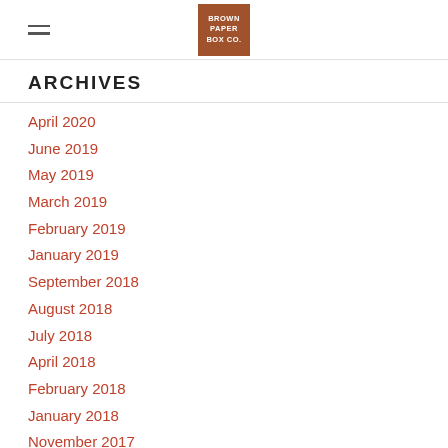BROWN PAPER BOX CO.
ARCHIVES
April 2020
June 2019
May 2019
March 2019
February 2019
January 2019
September 2018
August 2018
July 2018
April 2018
February 2018
January 2018
November 2017
October 2017
September 2017
August 2017